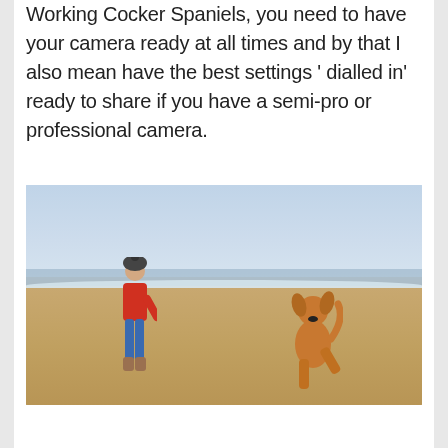Working Cocker Spaniels, you need to have your camera ready at all times and by that I also mean have the best settings ' dialled in' ready to share if you have a semi-pro or professional camera.
[Figure (photo): A woman in a red jacket and grey beanie hat standing on a beach, with a golden/brown dog jumping up on its hind legs in front of her. The beach has sandy shores, calm waves, and an overcast sky.]